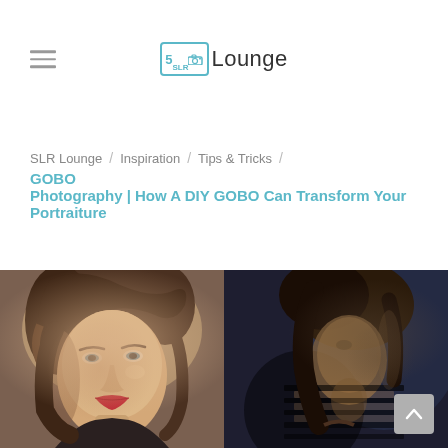SLR Lounge
SLR Lounge / Inspiration / Tips & Tricks / GOBO Photography | How A DIY GOBO Can Transform Your Portraiture
[Figure (photo): Two side-by-side portrait photographs: left shows a woman with styled hair and red lipstick in bright lighting, right shows a woman in dramatic dark/shadow lighting with stripe patterns on skin.]